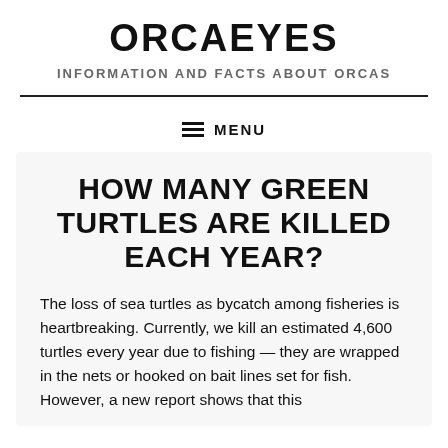ORCAEYES
INFORMATION AND FACTS ABOUT ORCAS
HOW MANY GREEN TURTLES ARE KILLED EACH YEAR?
The loss of sea turtles as bycatch among fisheries is heartbreaking. Currently, we kill an estimated 4,600 turtles every year due to fishing — they are wrapped in the nets or hooked on bait lines set for fish. However, a new report shows that this